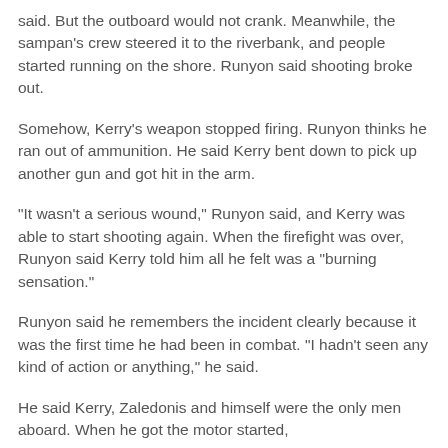said. But the outboard would not crank. Meanwhile, the sampan's crew steered it to the riverbank, and people started running on the shore. Runyon said shooting broke out.
Somehow, Kerry's weapon stopped firing. Runyon thinks he ran out of ammunition. He said Kerry bent down to pick up another gun and got hit in the arm.
"It wasn't a serious wound," Runyon said, and Kerry was able to start shooting again. When the firefight was over, Runyon said Kerry told him all he felt was a "burning sensation."
Runyon said he remembers the incident clearly because it was the first time he had been in combat. "I hadn't seen any kind of action or anything," he said.
He said Kerry, Zaledonis and himself were the only men aboard. When he got the motor started,